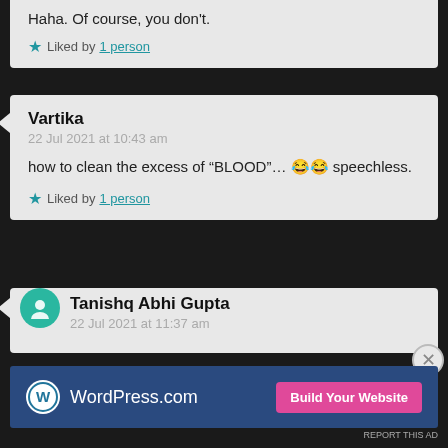Haha. Of course, you don't.
Liked by 1 person
Vartika
22 Jul 2021 at 10:43 am
how to clean the excess of “BLOOD”… 😂😂 speechless.
Liked by 1 person
Tanishq Abhi Gupta
22 Jul 2021 at 11:37 am
Advertisements
[Figure (other): WordPress.com advertisement banner with Build Your Website button]